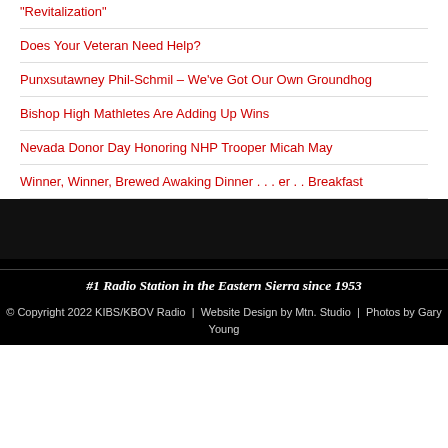"Revitalization"
Does Your Veteran Need Help?
Punxsutawney Phil-Schmil – We've Got Our Own Groundhog
Bishop High Mathletes Are Adding Up Wins
Nevada Donor Day Honoring NHP Trooper Micah May
Winner, Winner, Brewed Awaking Dinner . . . er . . Breakfast
#1 Radio Station in the Eastern Sierra since 1953
© Copyright 2022 KIBS/KBOV Radio  |  Website Design by Mtn. Studio  |  Photos by Gary Young